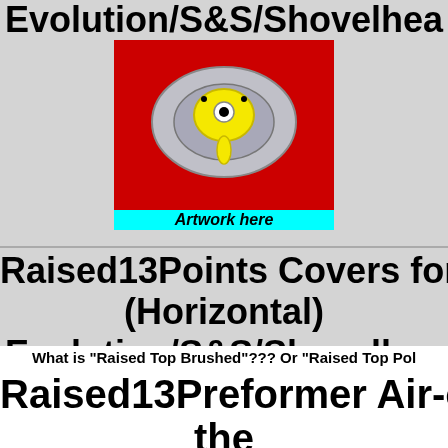Evolution/S&S/Shovelhead
[Figure (illustration): Motorcycle engine timing cover part on red background with yellow highlight and 'Artwork here' label in cyan]
Raised13Points Covers for (Horizontal) Evolution/S&S/Shovelhead
[Figure (illustration): Round chromed motorcycle air cleaner cover with yellow crosshair design on red background with 'Artwork here' label in cyan]
What is "Raised Top Brushed"??? Or "Raised Top Po...
Raised13Preformer Air-clean... the